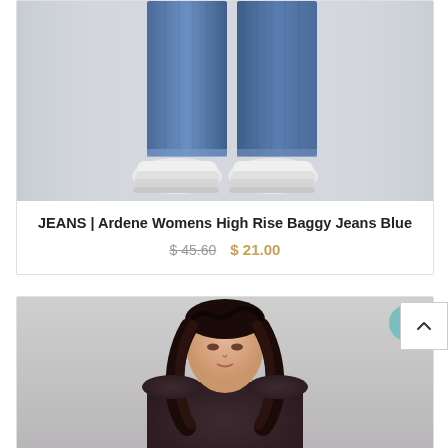[Figure (photo): Lower body of a person wearing blue high-rise baggy jeans with white chunky sneakers, against a light grey background]
JEANS | Ardene Womens High Rise Baggy Jeans Blue
$ 45.60  $ 21.00
[Figure (photo): A woman with curly dark hair wearing a dark brownish-purple long sleeve top, photographed from shoulders up with a sale badge visible in top right corner]